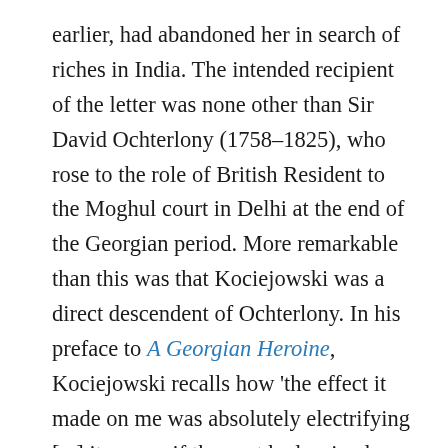earlier, had abandoned her in search of riches in India. The intended recipient of the letter was none other than Sir David Ochterlony (1758–1825), who rose to the role of British Resident to the Moghul court in Delhi at the end of the Georgian period. More remarkable than this was that Kociejowski was a direct descendent of Ochterlony. In his preface to A Georgian Heroine, Kociejowski recalls how 'the effect it made on me was absolutely electrifying [...] it was as if the post had arrived over a century and a half late' (p. xxi). What follows is a lively and richly detailed account of Charlotte's life, drawn from her surviving writing by biographers and genealogists Joanne Major and Sarah Murden. Major and